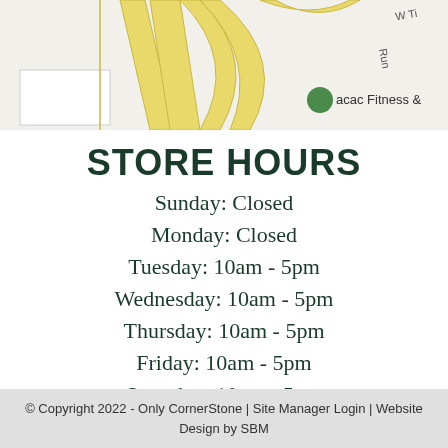[Figure (map): Partial street map showing road intersections with yellow roads, beige areas, and a green 'acac Fitness &' marker visible. Street labels partially visible including 'W Ti' and 'Run'.]
STORE HOURS
Sunday: Closed
Monday: Closed
Tuesday: 10am - 5pm
Wednesday: 10am - 5pm
Thursday: 10am - 5pm
Friday: 10am - 5pm
Saturday: 10am - 5pm
© Copyright 2022 - Only CornerStone | Site Manager Login | Website Design by SBM